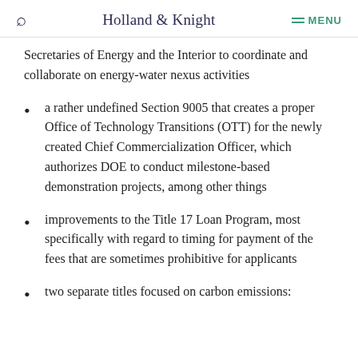Holland & Knight  MENU
Secretaries of Energy and the Interior to coordinate and collaborate on energy-water nexus activities
a rather undefined Section 9005 that creates a proper Office of Technology Transitions (OTT) for the newly created Chief Commercialization Officer, which authorizes DOE to conduct milestone-based demonstration projects, among other things
improvements to the Title 17 Loan Program, most specifically with regard to timing for payment of the fees that are sometimes prohibitive for applicants
two separate titles focused on carbon emissions: